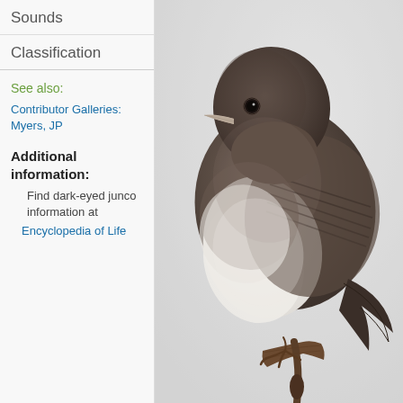Sounds
Classification
See also:
Contributor Galleries: Myers, JP
Additional information:
Find dark-eyed junco information at
Encyclopedia of Life
[Figure (photo): A dark-eyed junco bird perched on a small branch. The bird has a dark gray-brown head and back, white belly, and pale pinkish beak. Background is light gray/white.]